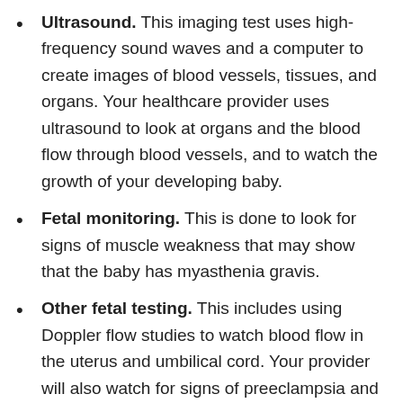Ultrasound. This imaging test uses high-frequency sound waves and a computer to create images of blood vessels, tissues, and organs. Your healthcare provider uses ultrasound to look at organs and the blood flow through blood vessels, and to watch the growth of your developing baby.
Fetal monitoring. This is done to look for signs of muscle weakness that may show that the baby has myasthenia gravis.
Other fetal testing. This includes using Doppler flow studies to watch blood flow in the uterus and umbilical cord. Your provider will also watch for signs of preeclampsia and fetal growth problems.
You can increase your chances of having a healthy pregnancy by getting early prenatal care and working